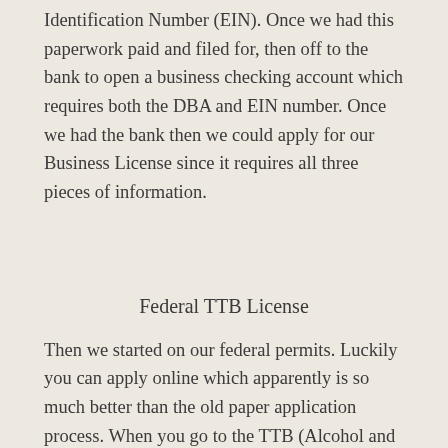Identification Number (EIN). Once we had this paperwork paid and filed for, then off to the bank to open a business checking account which requires both the DBA and EIN number. Once we had the bank then we could apply for our Business License since it requires all three pieces of information.
Federal TTB License
Then we started on our federal permits. Luckily you can apply online which apparently is so much better than the old paper application process. When you go to the TTB (Alcohol and Tobacco Tax and Trade Bureau) website, there are 24 required